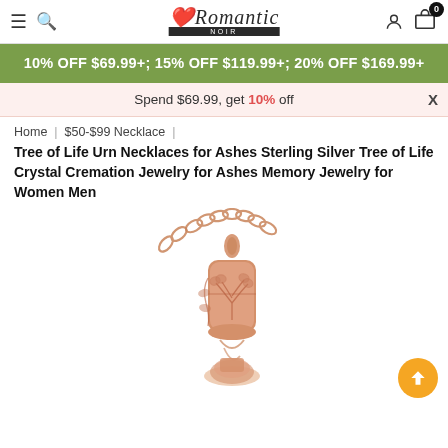Romantic NOIR — navigation header with hamburger menu, search, logo, user icon, cart (0)
10% OFF $69.99+; 15% OFF $119.99+; 20% OFF $169.99+
Spend $69.99, get 10% off
Home | $50-$99 Necklace |
Tree of Life Urn Necklaces for Ashes Sterling Silver Tree of Life Crystal Cremation Jewelry for Ashes Memory Jewelry for Women Men
[Figure (photo): Rose gold tree of life urn necklace pendant on a chain, showing cylindrical locket with leaf/tree design engraving, partially visible]